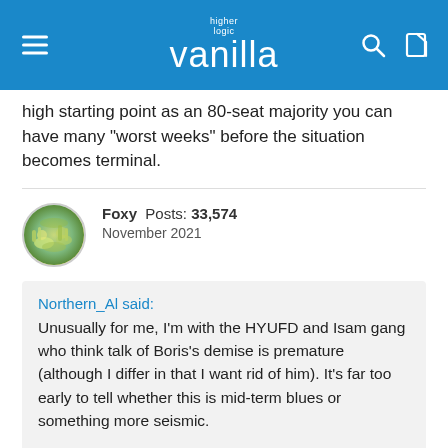higher logic vanilla
high starting point as an 80-seat majority you can have many "worst weeks" before the situation becomes terminal.
Foxy  Posts: 33,574
November 2021
Northern_Al said:
Unusually for me, I'm with the HYUFD and Isam gang who think talk of Boris's demise is premature (although I differ in that I want rid of him). It's far too early to tell whether this is mid-term blues or something more seismic.

I strongly suspect that Tory MPs will hold their fire unless/until there is a reasonably prolonged